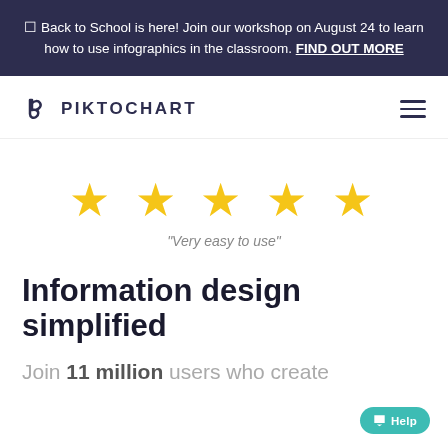☐ Back to School is here! Join our workshop on August 24 to learn how to use infographics in the classroom. FIND OUT MORE
[Figure (logo): Piktochart logo with stylized P icon and PIKTOCHART wordmark, with hamburger menu icon on right]
[Figure (infographic): Five gold stars rating display]
"Very easy to use"
Information design simplified
Join 11 million users who create infographics to communicate...